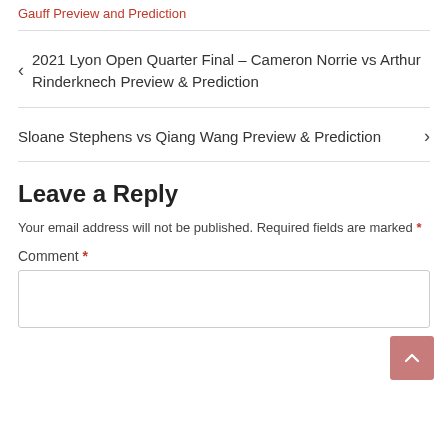Gauff Preview and Prediction
2021 Lyon Open Quarter Final – Cameron Norrie vs Arthur Rinderknech Preview & Prediction
Sloane Stephens vs Qiang Wang Preview & Prediction
Leave a Reply
Your email address will not be published. Required fields are marked *
Comment *